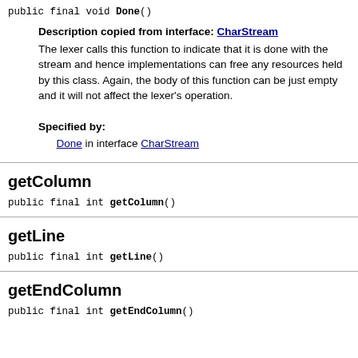public final void Done()
Description copied from interface: CharStream
The lexer calls this function to indicate that it is done with the stream and hence implementations can free any resources held by this class. Again, the body of this function can be just empty and it will not affect the lexer's operation.
Specified by:
    Done in interface CharStream
getColumn
public final int getColumn()
getLine
public final int getLine()
getEndColumn
public final int getEndColumn()